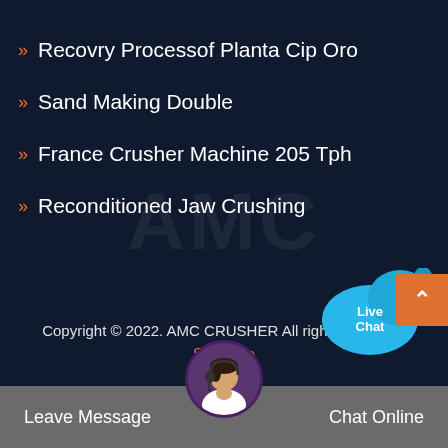Recovry Processof Planta Cip Oro
Sand Making Double
France Crusher Machine 205 Tph
Reconditioned Jaw Crushing
[Figure (illustration): Live Chat speech bubble widget with blue bubble and white text 'Live Chat' with an X close button]
Copyright © 2022. AMC CRUSHER All rights reserved.
Sitemap
[Figure (illustration): Back to top orange button with upward chevron arrow]
[Figure (illustration): Customer support agent circular avatar photo at bottom center]
Leave Message
Chat Online